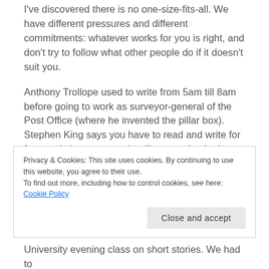I've discovered there is no one-size-fits-all. We have different pressures and different commitments: whatever works for you is right, and don't try to follow what other people do if it doesn't suit you.
Anthony Trollope used to write from 5am till 8am before going to work as surveyor-general of the Post Office (where he invented the pillar box). Stephen King says you have to read and write for four to six hours every day (I'm guessing he has help with cooking, cleaning, shopping, childcare, etc). Ian McEwan says it's a good day if he's written several hundred words (which suggests he's making
Privacy & Cookies: This site uses cookies. By continuing to use this website, you agree to their use.
To find out more, including how to control cookies, see here: Cookie Policy
University evening class on short stories. We had to